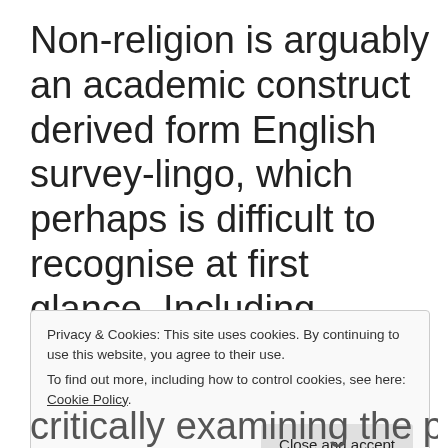Non-religion is arguably an academic construct derived form English survey-lingo, which perhaps is difficult to recognise at first glance. Including ‘nones’ when mapping the religious landscape of late modern societies
Privacy & Cookies: This site uses cookies. By continuing to use this website, you agree to their use. To find out more, including how to control cookies, see here: Cookie Policy.
critically examining the possibility